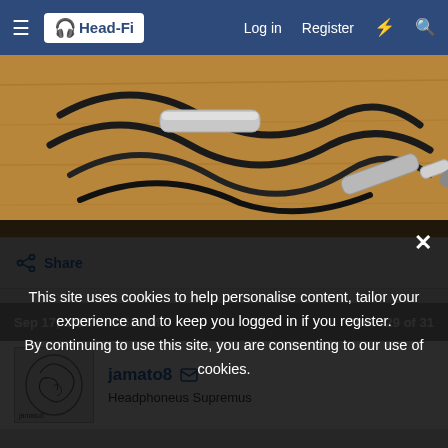Head-Fi | Log in | Register
[Figure (photo): Photo of audio cables and microphone/measuring equipment on a wooden surface]
Share
Sep 17, 2015 at 3:58 PM   Post #29 of 31
[Figure (photo): User avatar for jamato8 showing an ear diagram]
jamato8
Headphoneus Supremus
This site uses cookies to help personalise content, tailor your experience and to keep you logged in if you register. By continuing to use this site, you are consenting to our use of cookies.